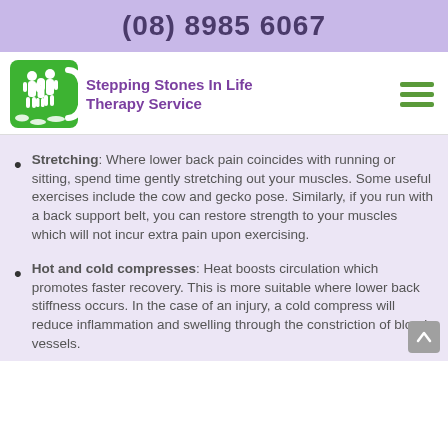(08) 8985 6067
[Figure (logo): Stepping Stones In Life Therapy Service logo — green square with white family silhouette and stepping stones, with purple text company name]
Stretching: Where lower back pain coincides with running or sitting, spend time gently stretching out your muscles. Some useful exercises include the cow and gecko pose. Similarly, if you run with a back support belt, you can restore strength to your muscles which will not incur extra pain upon exercising.
Hot and cold compresses: Heat boosts circulation which promotes faster recovery. This is more suitable where lower back stiffness occurs. In the case of an injury, a cold compress will reduce inflammation and swelling through the constriction of blood vessels.